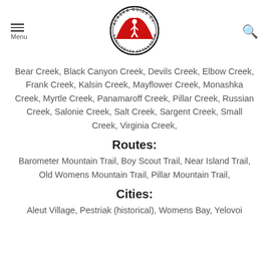Menu | Alaska Guide Co. Wilderness Adventures Logo | Search
Bear Creek, Black Canyon Creek, Devils Creek, Elbow Creek, Frank Creek, Kalsin Creek, Mayflower Creek, Monashka Creek, Myrtle Creek, Panamaroff Creek, Pillar Creek, Russian Creek, Salonie Creek, Salt Creek, Sargent Creek, Small Creek, Virginia Creek,
Routes:
Barometer Mountain Trail, Boy Scout Trail, Near Island Trail, Old Womens Mountain Trail, Pillar Mountain Trail,
Cities:
Aleut Village, Pestriak (historical), Womens Bay, Yelovoi